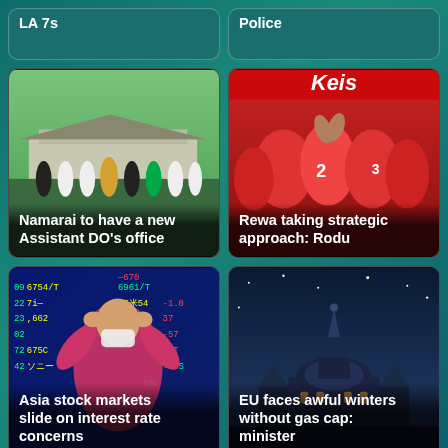LA 7s
Police
[Figure (photo): Group of people standing outside a building — Namarai Assistant DO's office story]
Namarai to have a new Assistant DO's office
[Figure (photo): Football players in red jerseys huddling together — Rewa taking strategic approach story]
Rewa taking strategic approach: Rodu
[Figure (photo): Woman wearing face mask in front of stock market board showing numbers — Asia stock markets story]
Asia stock markets slide on interest rate concerns
[Figure (photo): European classical building at dusk/night — EU faces awful winters without gas cap story]
EU faces awful winters without gas cap: minister